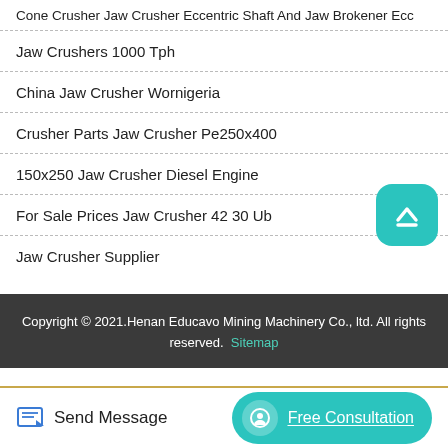Cone Crusher Jaw Crusher Eccentric Shaft And Jaw Brokener Ecc
Jaw Crushers 1000 Tph
China Jaw Crusher Wornigeria
Crusher Parts Jaw Crusher Pe250x400
150x250 Jaw Crusher Diesel Engine
For Sale Prices Jaw Crusher 42 30 Ub
Jaw Crusher Supplier
Copyright © 2021.Henan Educavo Mining Machinery Co., ltd. All rights reserved. Sitemap
Send Message
Free Consultation